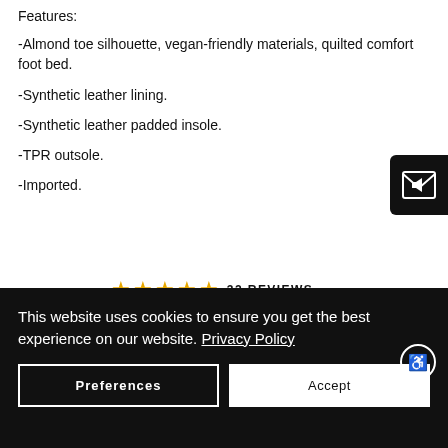Features:
-Almond toe silhouette, vegan-friendly materials, quilted comfort foot bed.
-Synthetic leather lining.
-Synthetic leather padded insole.
-TPR outsole.
-Imported.
32 REVIEWS
This website uses cookies to ensure you get the best experience on our website. Privacy Policy
Preferences
Accept